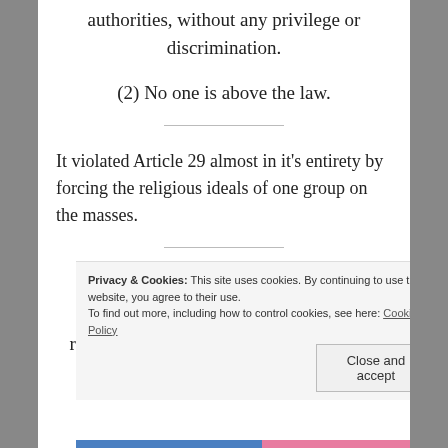authorities, without any privilege or discrimination.
(2) No one is above the law.
It violated Article 29 almost in it's entirety by forcing the religious ideals of one group on the masses.
Article 29
(1) Freedom of thought, opinion, and religious beliefs shall not be restricted in any form
Privacy & Cookies: This site uses cookies. By continuing to use this website, you agree to their use. To find out more, including how to control cookies, see here: Cookie Policy